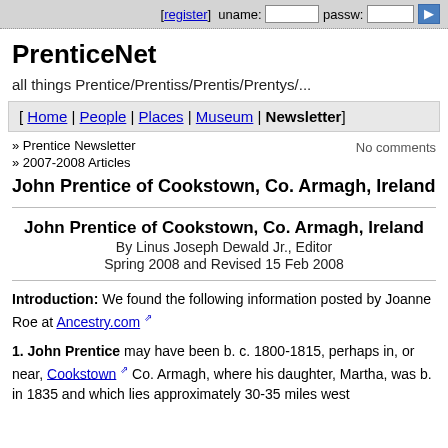[ register ]  uname:  passw:
PrenticeNet
all things Prentice/Prentiss/Prentis/Prentys/...
[ Home | People | Places | Museum | Newsletter]
» Prentice Newsletter
» 2007-2008 Articles
No comments
John Prentice of Cookstown, Co. Armagh, Ireland
John Prentice of Cookstown, Co. Armagh, Ireland
By Linus Joseph Dewald Jr., Editor
Spring 2008 and Revised 15 Feb 2008
Introduction: We found the following information posted by Joanne Roe at Ancestry.com
1. John Prentice may have been b. c. 1800-1815, perhaps in, or near, Cookstown Co. Armagh, where his daughter, Martha, was b. in 1835 and which lies approximately 30-35 miles west